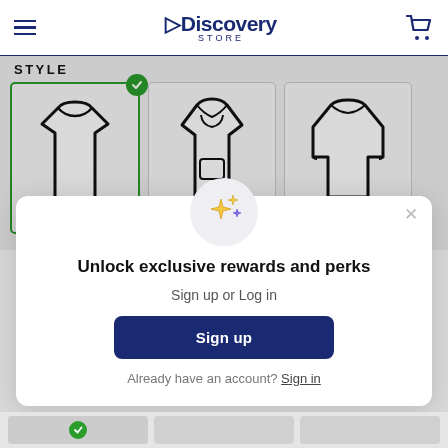Discovery Store
STYLE
[Figure (screenshot): Three clothing style options shown as line-art illustrations: T-Shirt (selected with green checkmark), Hoodie, and Long-Sleeve shirt]
[Figure (screenshot): Modal popup with sparkle icon, title 'Unlock exclusive rewards and perks', subtitle 'Sign up or Log in', a dark blue Sign up button, and 'Already have an account? Sign in' link]